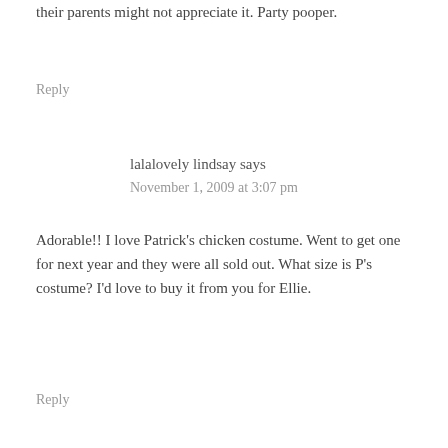their parents might not appreciate it. Party pooper.
Reply
lalalovely lindsay says
November 1, 2009 at 3:07 pm
Adorable!! I love Patrick's chicken costume. Went to get one for next year and they were all sold out. What size is P's costume? I'd love to buy it from you for Ellie.
Reply